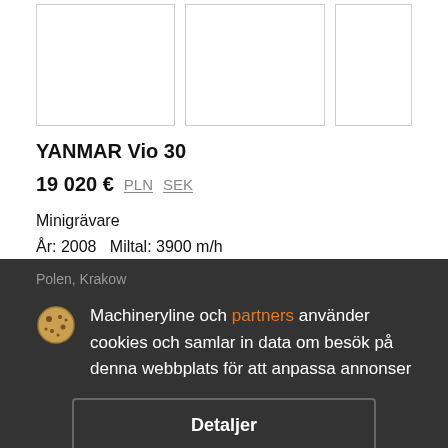[Figure (photo): Three placeholder image boxes for a product listing (YANMAR Vio 30 excavator)]
YANMAR Vio 30
19 020 €  PLN  SEK
Minigrävare
År: 2008   Miltal: 3900 m/h
Polen, Krakow
Machineryline och partners använder cookies och samlar in data om besök på denna webbplats för att anpassa annonser
Detaljer
Acceptera och stäng